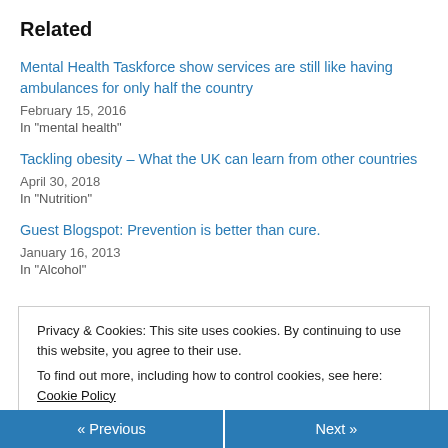Related
Mental Health Taskforce show services are still like having ambulances for only half the country
February 15, 2016
In "mental health"
Tackling obesity – What the UK can learn from other countries
April 30, 2018
In "Nutrition"
Guest Blogspot: Prevention is better than cure.
January 16, 2013
In "Alcohol"
Privacy & Cookies: This site uses cookies. By continuing to use this website, you agree to their use.
To find out more, including how to control cookies, see here: Cookie Policy
« Previous   Next »